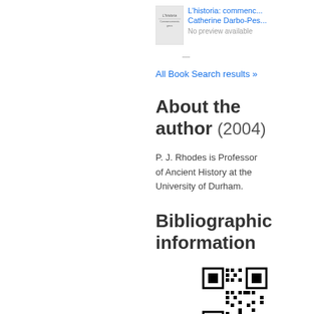[Figure (illustration): Small thumbnail of book cover for L'historia, with small text on a white/light cover]
L'historia: commenc...
Catherine Darbo-Pes...
No preview available
—
All Book Search results &raquo;
About the author (2004)
P. J. Rhodes is Professor of Ancient History at the University of Durham.
Bibliographic information
[Figure (other): QR code for bibliographic information]